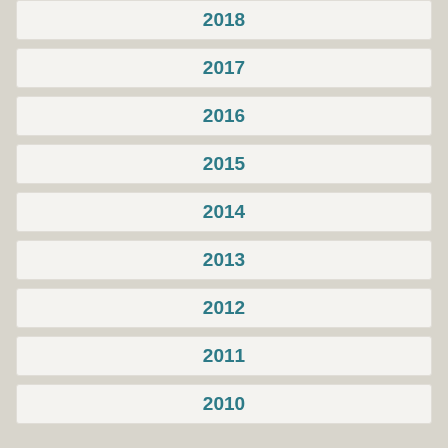2018
2017
2016
2015
2014
2013
2012
2011
2010
Blogs by Tag
conservancy (rss)
GPL (rss)
supporter (rss)
conferences (rss)
licensing (rss)